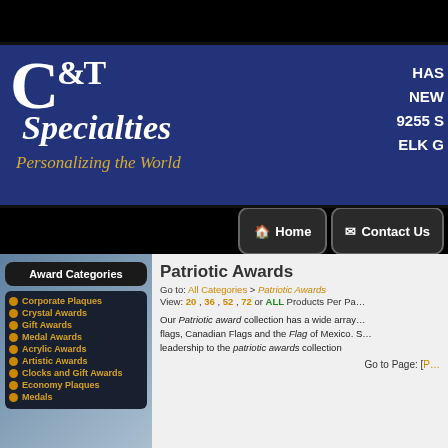[Figure (logo): C&T Specialties logo banner with blue background, white serif text 'C & T Specialties', italic tagline 'Personalizing the World' in gold, and partial address text on right]
Home | Contact Us navigation buttons
Award Categories
Corporate Plaques
Crystal Awards
Gift Awards
Medal Awards
Acrylic Awards
Artistic Awards
Clocks and Gift Awards
Economy Plaques
Medals
Patriotic Awards
Go to: All Categories > Patriotic Awards
View: 20 , 36 , 52 , 72 or ALL Products Per Page
Our Patriotic award collection has a wide array of flags, Canadian Flags and the Flag of Mexico. S... leadership to the patriotic awards collection
Go to Page: [P...